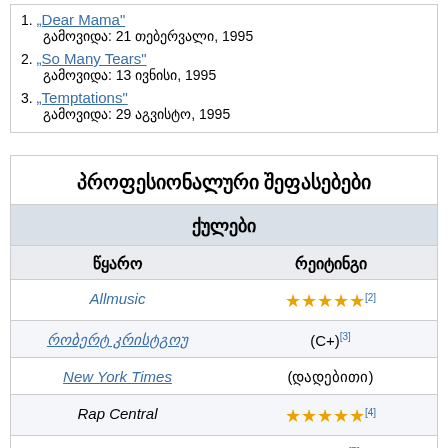1. "Dear Mama" გამოვიდა: 21 თებერვალი, 1995
2. "So Many Tears" გამოვიდა: 13 ივნისი, 1995
3. "Temptations" გამოვიდა: 29 აგვისტო, 1995
| წყარო | რეიტინგი |
| --- | --- |
| Allmusic | ★★★★★[2] |
| რობერტ კრისტგოუ | (C+)[3] |
| New York Times | (დადებითი) |
| Rap Central | ★★★★★[4] |
| RapReviews | (10/10)[5] |
| Rolling Stone | ★★★★☆ |